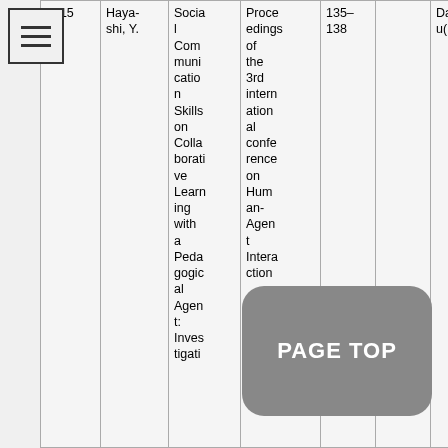[Figure (other): Menu/hamburger icon with three horizontal lines inside a bordered square]
| Year | Author | Title | Venue | Pages | Vol/No | Location |
| --- | --- | --- | --- | --- | --- | --- |
| 2015 | Hayashi, Y. | Social Communication Skills on Collaborative Learning with a Pedagogical Agent: Investigati... | Proceedings of the 3rd international conference on Human-Agent Interaction... | 135–138 |  | Daegu(Ko... |
PAGE TOP